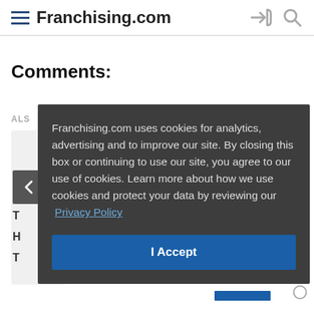Franchising.com
Comments:
ALS
Franchising.com uses cookies for analytics, advertising and to improve our site. By closing this box or continuing to use our site, you agree to our use of cookies. Learn more about how we use cookies and protect your data by reviewing our Privacy Policy
I Accept